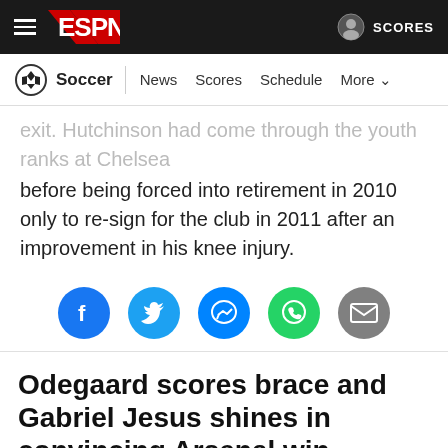ESPN — Soccer | News Scores Schedule More
exit. Hutchinson had come through the youth ranks at Chelsea before being forced into retirement in 2010 only to re-sign for the club in 2011 after an improvement in his knee injury.
[Figure (infographic): Social share buttons: Facebook, Twitter, Messenger, WhatsApp, Email]
Odegaard scores brace and Gabriel Jesus shines in convincing Arsenal win against Bournemouth
[Figure (photo): Bottom of page showing crowd at a football stadium in red colors]